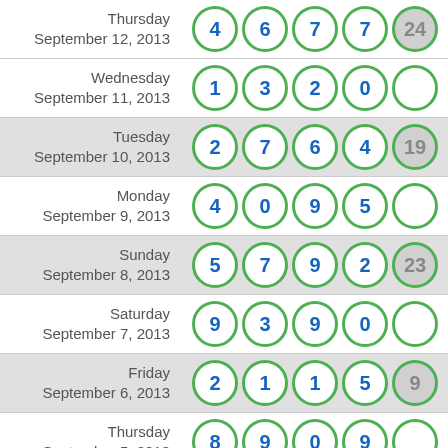Thursday September 12, 2013 | 4 6 7 7 24
Wednesday September 11, 2013 | 1 3 2 0
Tuesday September 10, 2013 | 2 7 6 4 19
Monday September 9, 2013 | 4 0 9 5
Sunday September 8, 2013 | 5 7 9 2 23
Saturday September 7, 2013 | 9 3 9 0
Friday September 6, 2013 | 2 1 1 5 9
Thursday September 5, 2013 | 8 9 0 9